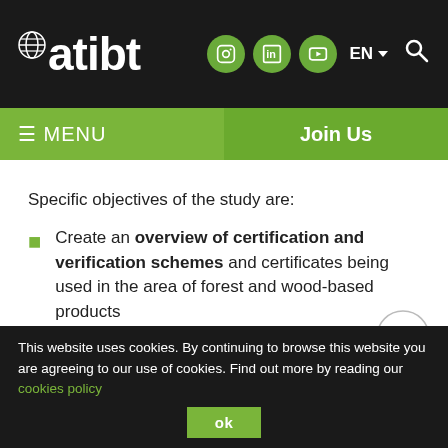atibt — MENU | Join Us navigation header
Specific objectives of the study are:
Create an overview of certification and verification schemes and certificates being used in the area of forest and wood-based products
This website uses cookies. By continuing to browse this website you are agreeing to our use of cookies. Find out more by reading our cookies policy